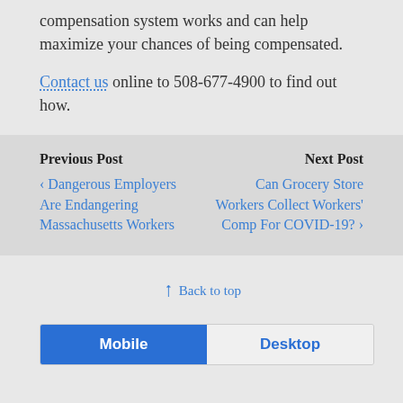compensation system works and can help maximize your chances of being compensated.
Contact us online to 508-677-4900 to find out how.
Previous Post
‹ Dangerous Employers Are Endangering Massachusetts Workers
Next Post
Can Grocery Store Workers Collect Workers' Comp For COVID-19? ›
⇑ Back to top
Mobile  Desktop